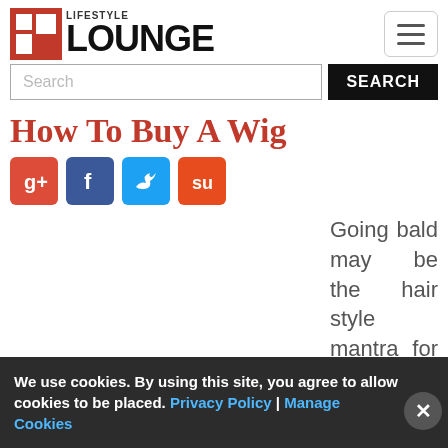LIFESTYLE LOUNGE
[Figure (screenshot): Search bar with text input and SEARCH button]
How To Buy A Wig
[Figure (infographic): Social share buttons: Google+, Facebook, Twitter, StumbleUpon]
Going bald may be the hair style mantra for many
We use cookies. By using this site, you agree to allow cookies to be placed. Privacy Policy | Manage Cookies